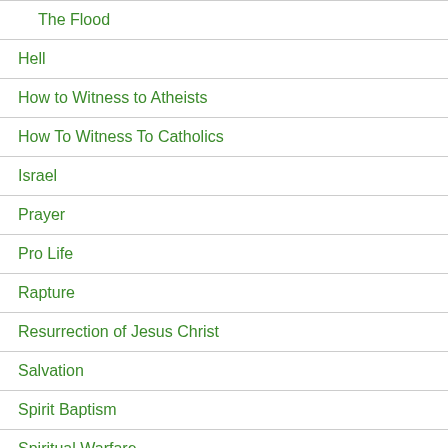The Flood
Hell
How to Witness to Atheists
How To Witness To Catholics
Israel
Prayer
Pro Life
Rapture
Resurrection of Jesus Christ
Salvation
Spirit Baptism
Spiritual Warfare